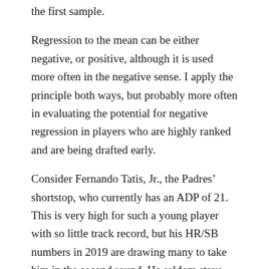the first sample.
Regression to the mean can be either negative, or positive, although it is used more often in the negative sense. I apply the principle both ways, but probably more often in evaluating the potential for negative regression in players who are highly ranked and are being drafted early.
Consider Fernando Tatis, Jr., the Padres’ shortstop, who currently has an ADP of 21. This is very high for such a young player with so little track record, but his HR/SB numbers in 2019 are drawing many to take him in the second round. He seldom stays undrafted far into the third round.